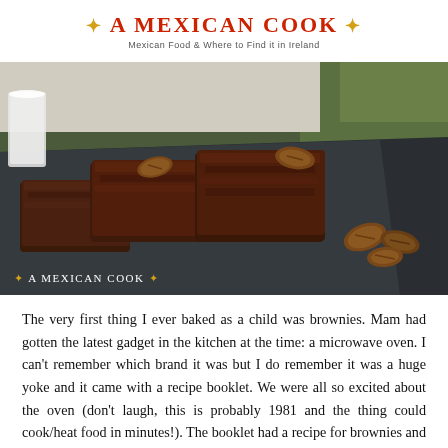* A MEXICAN COOK * — Mexican Food & Where to Find it in Ireland
[Figure (photo): Chocolate brownies topped with pecans on a dark slate board, with a glass of milk in the background and pecan nuts beside the brownies. Watermark reads '* A MEXICAN COOK *']
The very first thing I ever baked as a child was brownies. Mam had gotten the latest gadget in the kitchen at the time: a microwave oven. I can't remember which brand it was but I do remember it was a huge yoke and it came with a recipe booklet. We were all so excited about the oven (don't laugh, this is probably 1981 and the thing could cook/heat food in minutes!). The booklet had a recipe for brownies and although both, booklet and microwave oven are long gone, the brownie